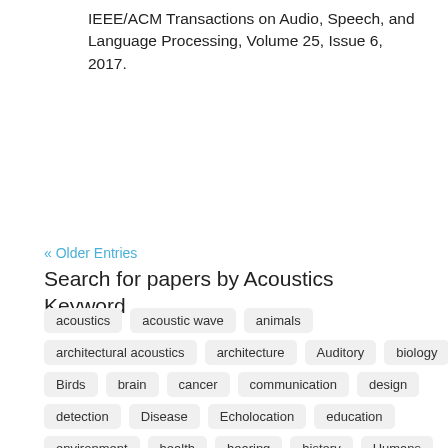IEEE/ACM Transactions on Audio, Speech, and Language Processing, Volume 25, Issue 6, 2017.
« Older Entries
Search for papers by Acoustics Keyword
acoustics
acoustic wave
animals
architectural acoustics
architecture
Auditory
biology
Birds
brain
cancer
communication
design
detection
Disease
Echolocation
education
environment
health
hearing
history
Humans